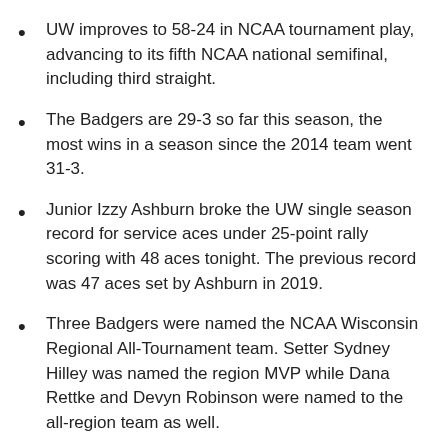UW improves to 58-24 in NCAA tournament play, advancing to its fifth NCAA national semifinal, including third straight.
The Badgers are 29-3 so far this season, the most wins in a season since the 2014 team went 31-3.
Junior Izzy Ashburn broke the UW single season record for service aces under 25-point rally scoring with 48 aces tonight. The previous record was 47 aces set by Ashburn in 2019.
Three Badgers were named the NCAA Wisconsin Regional All-Tournament team. Setter Sydney Hilley was named the region MVP while Dana Rettke and Devyn Robinson were named to the all-region team as well.